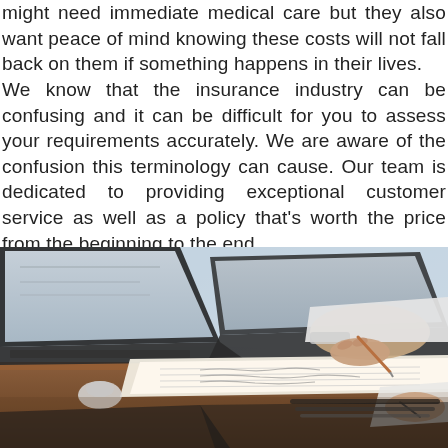might need immediate medical care but they also want peace of mind knowing these costs will not fall back on them if something happens in their lives. We know that the insurance industry can be confusing and it can be difficult for you to assess your requirements accurately. We are aware of the confusion this terminology can cause. Our team is dedicated to providing exceptional customer service as well as a policy that's worth the price from the beginning to the end.
[Figure (photo): Two people sitting at a desk with laptops, one writing in a notebook with a pen, another person's hands visible holding a pen, office/business setting with wooden desk surface, papers and pens scattered on the desk.]